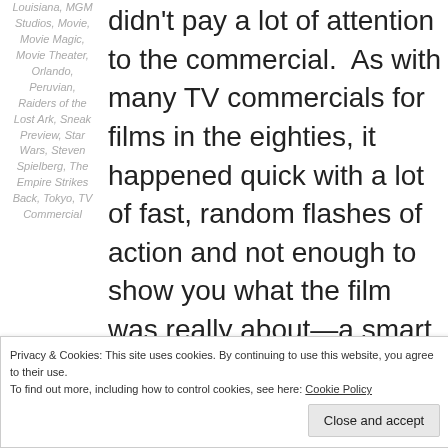Louisiana, MGM Studios, Movie, Movie Magic, Movie Theater, Orlando, Peruvian, Raiders of the Lost Ark, Sneak Preview, Star Wars, Steven Spielberg, The Empire Strikes Back, Tokyo, TV Commercial
didn't pay a lot of attention to the commercial.  As with many TV commercials for films in the eighties, it happened quick with a lot of fast, random flashes of action and not enough to show you what the film was really about—a smart marketing tactic compared to today where you already know the
Privacy & Cookies: This site uses cookies. By continuing to use this website, you agree to their use.
To find out more, including how to control cookies, see here: Cookie Policy
Close and accept